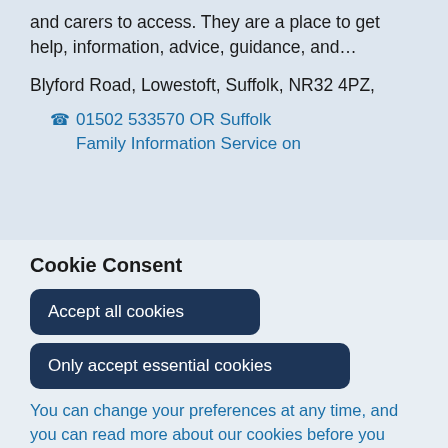and carers to access. They are a place to get help, information, advice, guidance, and…
Blyford Road, Lowestoft, Suffolk, NR32 4PZ,
01502 533570 OR Suffolk Family Information Service on
Cookie Consent
Accept all cookies
Only accept essential cookies
You can change your preferences at any time, and you can read more about our cookies before you choose.
Leave Website